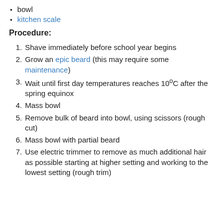bowl
kitchen scale
Procedure:
1. Shave immediately before school year begins
2. Grow an epic beard (this may require some maintenance)
3. Wait until first day temperatures reaches 10ºC after the spring equinox
4. Mass bowl
5. Remove bulk of beard into bowl, using scissors (rough cut)
6. Mass bowl with partial beard
7. Use electric trimmer to remove as much additional hair as possible starting at higher setting and working to the lowest setting (rough trim)